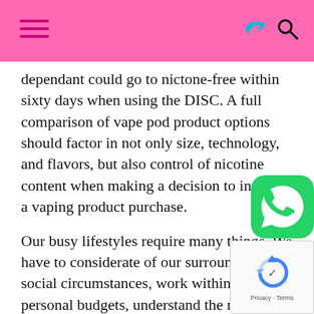dependant could go to nictone-free within sixty days when using the DISC. A full comparison of vape pod product options should factor in not only size, technology, and flavors, but also control of nicotine content when making a decision to invest in a vaping product purchase.
Our busy lifestyles require many things. We have to considerate of our surrounding social circumstances, work within our own personal budgets, understand the need for tamper-proof products, discover flavor options, and have a know-how as to factoring in the appropriate amount of nicotine when buying vaping products and vaping pod systems.